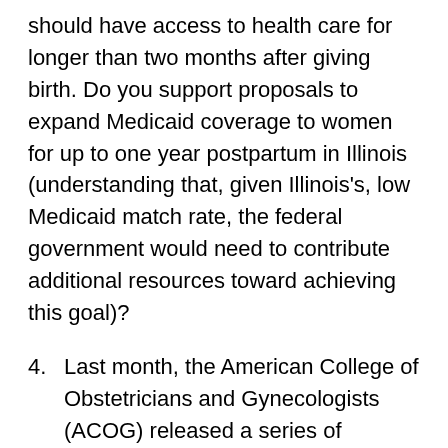should have access to health care for longer than two months after giving birth. Do you support proposals to expand Medicaid coverage to women for up to one year postpartum in Illinois (understanding that, given Illinois's, low Medicaid match rate, the federal government would need to contribute additional resources toward achieving this goal)?
4. Last month, the American College of Obstetricians and Gynecologists (ACOG) released a series of recommendations which, if effectuated, would help optimize the health of women and infants nationwide. ACOG recommended that: